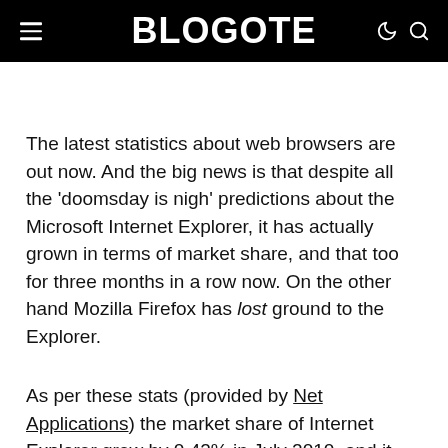BLOGOTE
The latest statistics about web browsers are out now. And the big news is that despite all the 'doomsday is nigh' predictions about the Microsoft Internet Explorer, it has actually grown in terms of market share, and that too for three months in a row now. On the other hand Mozilla Firefox has lost ground to the Explorer.
As per these stats (provided by Net Applications) the market share of Internet Explorer grew by 0.42% in July 2010, and it now commands a whopping 60.74% of the entire browser pie.